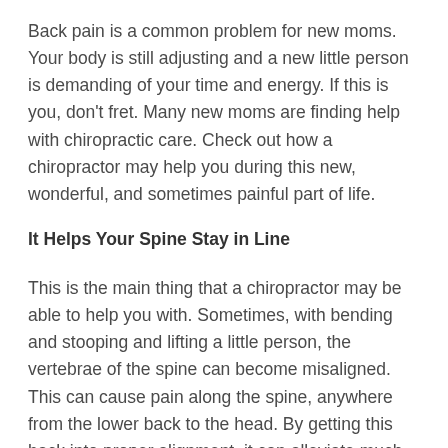Back pain is a common problem for new moms. Your body is still adjusting and a new little person is demanding of your time and energy. If this is you, don't fret. Many new moms are finding help with chiropractic care. Check out how a chiropractor may help you during this new, wonderful, and sometimes painful part of life.
It Helps Your Spine Stay in Line
This is the main thing that a chiropractor may be able to help you with. Sometimes, with bending and stooping and lifting a little person, the vertebrae of the spine can become misaligned. This can cause pain along the spine, anywhere from the lower back to the head. By getting this back into proper alignment, it can alleviate much of the pain that stems from such